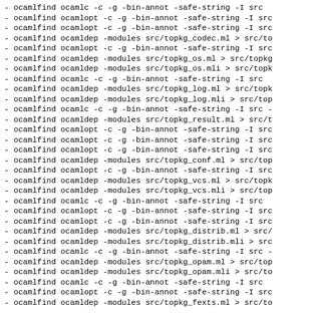- ocamlfind ocamlc -c -g -bin-annot -safe-string -I src
- ocamlfind ocamlopt -c -g -bin-annot -safe-string -I src
- ocamlfind ocamlopt -c -g -bin-annot -safe-string -I src
- ocamlfind ocamldep -modules src/topkg_codec.ml > src/to
- ocamlfind ocamlopt -c -g -bin-annot -safe-string -I src
- ocamlfind ocamldep -modules src/topkg_os.ml > src/topkg
- ocamlfind ocamldep -modules src/topkg_os.mli > src/topk
- ocamlfind ocamlc -c -g -bin-annot -safe-string -I src
- ocamlfind ocamldep -modules src/topkg_log.ml > src/topk
- ocamlfind ocamldep -modules src/topkg_log.mli > src/top
- ocamlfind ocamlc -c -g -bin-annot -safe-string -I src -
- ocamlfind ocamldep -modules src/topkg_result.ml > src/t
- ocamlfind ocamlopt -c -g -bin-annot -safe-string -I src
- ocamlfind ocamlopt -c -g -bin-annot -safe-string -I src
- ocamlfind ocamlopt -c -g -bin-annot -safe-string -I src
- ocamlfind ocamldep -modules src/topkg_conf.ml > src/top
- ocamlfind ocamlopt -c -g -bin-annot -safe-string -I src
- ocamlfind ocamldep -modules src/topkg_vcs.ml > src/topk
- ocamlfind ocamldep -modules src/topkg_vcs.mli > src/top
- ocamlfind ocamlc -c -g -bin-annot -safe-string -I src
- ocamlfind ocamlopt -c -g -bin-annot -safe-string -I src
- ocamlfind ocamlopt -c -g -bin-annot -safe-string -I src
- ocamlfind ocamldep -modules src/topkg_distrib.ml > src/
- ocamlfind ocamldep -modules src/topkg_distrib.mli > src
- ocamlfind ocamlc -c -g -bin-annot -safe-string -I src -
- ocamlfind ocamldep -modules src/topkg_opam.ml > src/top
- ocamlfind ocamldep -modules src/topkg_opam.mli > src/to
- ocamlfind ocamlc -c -g -bin-annot -safe-string -I src
- ocamlfind ocamlopt -c -g -bin-annot -safe-string -I src
- ocamlfind ocamldep -modules src/topkg_fexts.ml > src/to